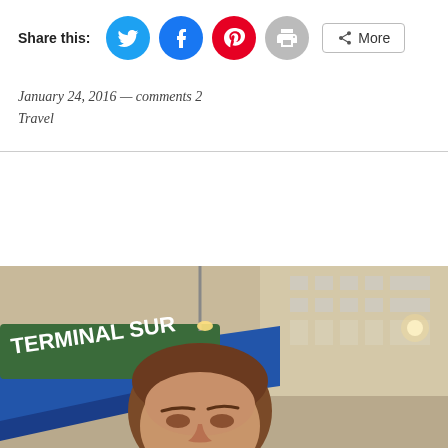Share this:
[Figure (screenshot): Social share buttons: Twitter (blue circle), Facebook (blue circle), Pinterest (red circle), Print (grey circle), and a More button with share icon]
January 24, 2016 — comments 2
Travel
[Figure (photo): Photo of a young man looking down at a bus terminal, with a 'Terminal Sur' sign visible in the background, taken at night with blue lighting]